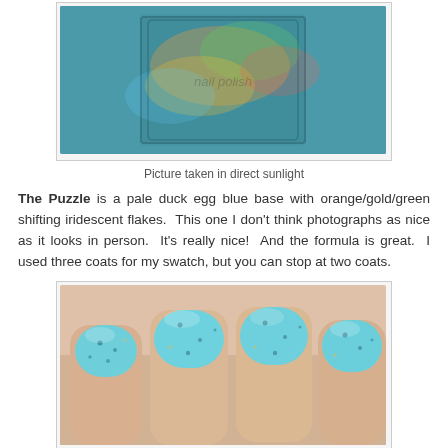[Figure (photo): Nail polish bottle with teal/blue base and iridescent orange/gold/green flakes, held in hand, photographed in direct sunlight]
Picture taken in direct sunlight
The Puzzle is a pale duck egg blue base with orange/gold/green shifting iridescent flakes. This one I don't think photographs as nice as it looks in person. It's really nice! And the formula is great. I used three coats for my swatch, but you can stop at two coats.
[Figure (photo): Hand with four nails painted in pale teal/duck egg blue polish with visible iridescent flakes]